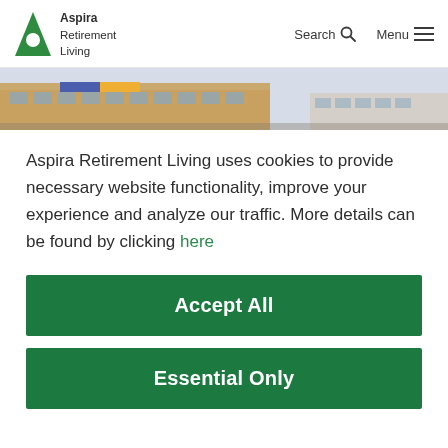Aspira Retirement Living — Search | Menu
[Figure (photo): Exterior photo of a brick building with colorful signage, partial view, light sky background]
Aspira Retirement Living uses cookies to provide necessary website functionality, improve your experience and analyze our traffic. More details can be found by clicking here
Accept All
Essential Only